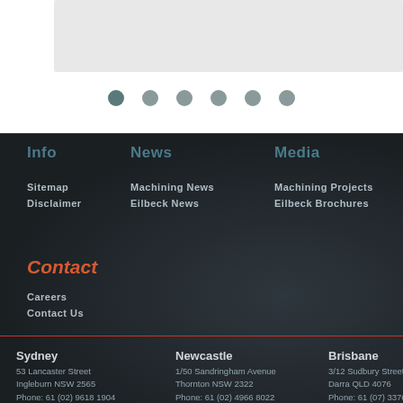[Figure (screenshot): Partial chart/slider visible at top of page with teal and grey colored tabs]
[Figure (other): Navigation pagination dots, six circles, first one darker/active]
Info
Sitemap
Disclaimer
News
Machining News
Eilbeck News
Media
Machining Projects
Eilbeck Brochures
Contact
Careers
Contact Us
Sydney
53 Lancaster Street
Ingleburn NSW 2565
Phone: 61 (02) 9618 1904
Newcastle
1/50 Sandringham Avenue
Thornton NSW 2322
Phone: 61 (02) 4966 8022
Brisbane
3/12 Sudbury Street
Darra QLD 4076
Phone: 61 (07) 3376 8255